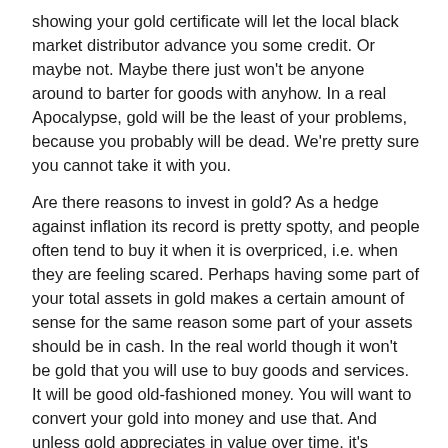showing your gold certificate will let the local black market distributor advance you some credit. Or maybe not. Maybe there just won't be anyone around to barter for goods with anyhow. In a real Apocalypse, gold will be the least of your problems, because you probably will be dead. We're pretty sure you cannot take it with you.
Are there reasons to invest in gold? As a hedge against inflation its record is pretty spotty, and people often tend to buy it when it is overpriced, i.e. when they are feeling scared. Perhaps having some part of your total assets in gold makes a certain amount of sense for the same reason some part of your assets should be in cash. In the real world though it won't be gold that you will use to buy goods and services. It will be good old-fashioned money. You will want to convert your gold into money and use that. And unless gold appreciates in value over time, it's probably not going to be a great investment.
Gold simply offers the illusion that your worth can maintain value regardless of the uncertainties in life. Rest assured this is an illusion, but perhaps it has some value because you won't need to regularly pop Valium. Real worth is predicated on people